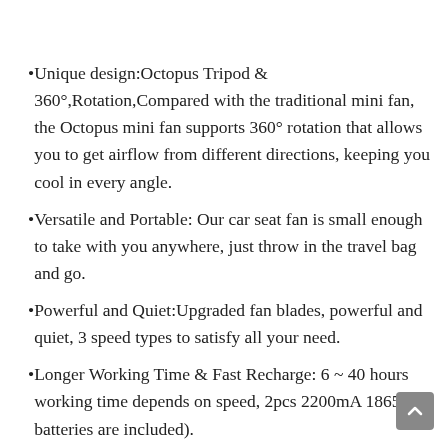Unique design:Octopus Tripod & 360°,Rotation,Compared with the traditional mini fan, the Octopus mini fan supports 360° rotation that allows you to get airflow from different directions, keeping you cool in every angle.
Versatile and Portable: Our car seat fan is small enough to take with you anywhere, just throw in the travel bag and go.
Powerful and Quiet:Upgraded fan blades, powerful and quiet, 3 speed types to satisfy all your need.
Longer Working Time & Fast Recharge: 6 ~ 40 hours working time depends on speed, 2pcs 2200mA 18650 batteries are included).